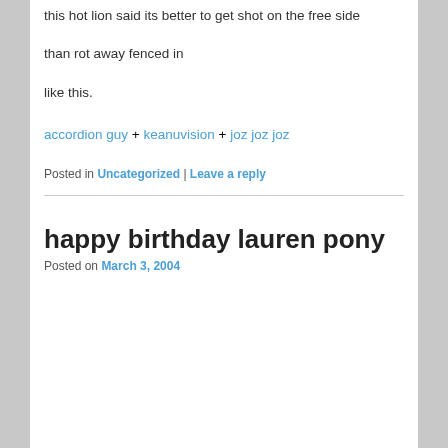this hot lion said its better to get shot on the free side
than rot away fenced in
like this.
accordion guy + keanuvision + joz joz joz
Posted in Uncategorized | Leave a reply
happy birthday lauren pony
Posted on March 3, 2004